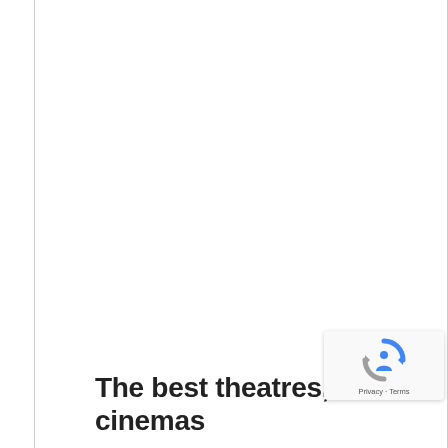The best theatres, cinemas
[Figure (logo): Google reCAPTCHA badge with spinning arrow logo and Privacy · Terms links]